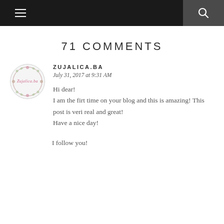[Navigation bar with hamburger menu and search icon]
71 COMMENTS
[Figure (logo): Circular logo for Zujalica.ba with floral wreath border and script text]
ZUJALICA.BA
July 31, 2017 at 9:31 AM
Hi dear!
I am the firt time on your blog and this is amazing! This post is veri real and great!
Have a nice day!
I follow you!